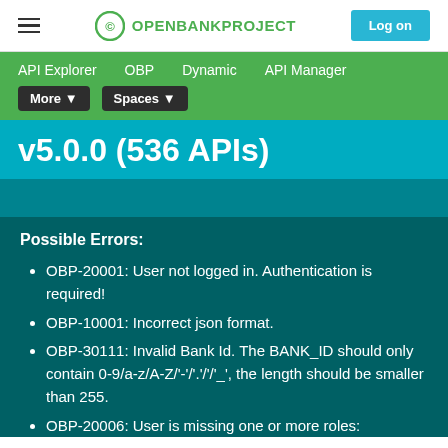OPENBANKPROJECT | Log on
API Explorer   OBP   Dynamic   API Manager   More ▾   Spaces ▾
v5.0.0 (536 APIs)
Possible Errors:
OBP-20001: User not logged in. Authentication is required!
OBP-10001: Incorrect json format.
OBP-30111: Invalid Bank Id. The BANK_ID should only contain 0-9/a-z/A-Z/'-'/'.'/'/'_', the length should be smaller than 255.
OBP-20006: User is missing one or more roles: